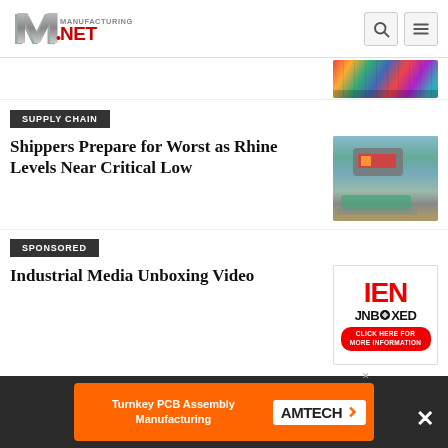Manufacturing.net
[Figure (photo): Aerial view of colorful shipping containers on a cargo ship]
SUPPLY CHAIN
Shippers Prepare for Worst as Rhine Levels Near Critical Low
[Figure (photo): Aerial drone view of a cargo ship navigating a low river (Rhine)]
SPONSORED
Industrial Media Unboxing Video
[Figure (logo): IEN UNBOXED logo with red text and click here for more information button]
[Figure (infographic): Bottom advertisement banner: Turnkey PCB Assembly Manufacturing - AMTECH with orange background]